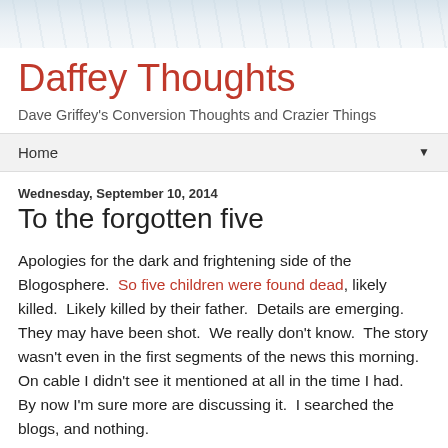[Figure (photo): Winter scene header image with snow-covered trees, faded gray-blue tones]
Daffey Thoughts
Dave Griffey's Conversion Thoughts and Crazier Things
Home ▼
Wednesday, September 10, 2014
To the forgotten five
Apologies for the dark and frightening side of the Blogosphere. So five children were found dead, likely killed. Likely killed by their father. Details are emerging. They may have been shot. We really don't know. The story wasn't even in the first segments of the news this morning. On cable I didn't see it mentioned at all in the time I had. By now I'm sure more are discussing it. I searched the blogs, and nothing.
Was a time, a time I am old enough to remember, that a